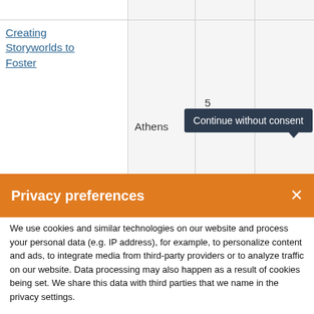|  |  |  |  |
| --- | --- | --- | --- |
| Creating Storyworlds to Foster |  | 5 Sep |  |
Continue without consent
Privacy preferences
We use cookies and similar technologies on our website and process your personal data (e.g. IP address), for example, to personalize content and ads, to integrate media from third-party providers or to analyze traffic on our website. Data processing may also happen as a result of cookies being set. We share this data with third parties that we name in the privacy settings.
Continue without consent
Accept all
Set privacy settings individually
Privacy policy  •  Cookie Policy